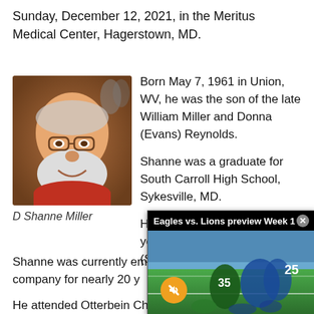Sunday, December 12, 2021, in the Meritus Medical Center, Hagerstown, MD.
[Figure (photo): Portrait photo of D Shanne Miller, an older man with white beard and glasses, smiling, wearing a red shirt.]
D Shanne Miller
Born May 7, 1961 in Union, WV, he was the son of the late William Miller and Donna (Evans) Reynolds.

Shanne was a graduate for South Carroll High School, Sykesville, MD.

He and his wife of over 31 years, Elizabeth A. “Beth” (Smith) Miller,
Shanne was currently em[ployed at] Morgan Keller, Inc., Fred[erick, MD,] company for nearly 20 y[ears.]
He attended Otterbein Ch[urch and taught] Sunday School for seve[ral years, enjoyed] playing cards, and enjo[yed...]
[Figure (screenshot): Video overlay popup showing Eagles vs. Lions preview Week 1, with a football game photo and a mute button icon and player jersey numbers 25 and 35 visible.]